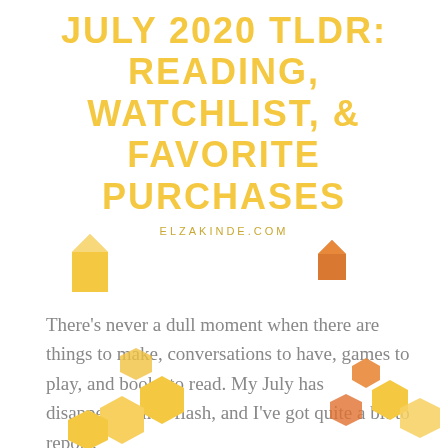JULY 2020 TLDR: READING, WATCHLIST, & FAVORITE PURCHASES
ELZAKINDE.COM
[Figure (illustration): Decorative house/envelope shapes in yellow and orange]
There’s never a dull moment when there are things to make, conversations to have, games to play, and books to read. My July has disappeared in a flash, and I’ve got quite a bit to report!
[Figure (illustration): Decorative hexagon shapes in yellow and orange at the bottom]